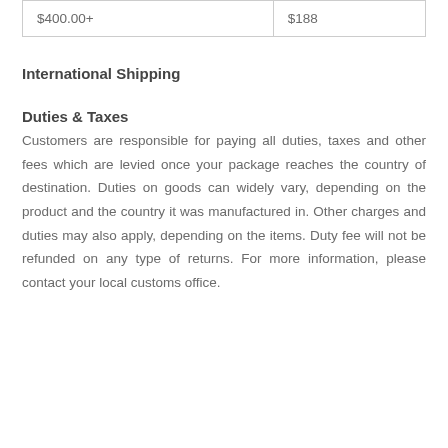| $400.00+ | $188 |
International Shipping
Duties & Taxes
Customers are responsible for paying all duties, taxes and other fees which are levied once your package reaches the country of destination. Duties on goods can widely vary, depending on the product and the country it was manufactured in. Other charges and duties may also apply, depending on the items. Duty fee will not be refunded on any type of returns. For more information, please contact your local customs office.